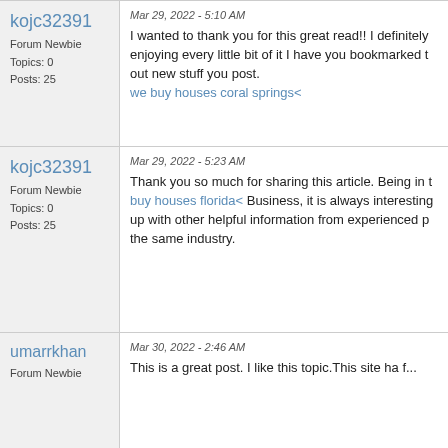kojc32391
Forum Newbie
Topics: 0
Posts: 25
Mar 29, 2022 - 5:10 AM
I wanted to thank you for this great read!! I definitely enjoying every little bit of it I have you bookmarked to out new stuff you post.
we buy houses coral springs<
kojc32391
Forum Newbie
Topics: 0
Posts: 25
Mar 29, 2022 - 5:23 AM
Thank you so much for sharing this article. Being in t buy houses florida< Business, it is always interesting up with other helpful information from experienced p the same industry.
umarrkhan
Forum Newbie
Mar 30, 2022 - 2:46 AM
This is a great post. I like this topic.This site ha f...